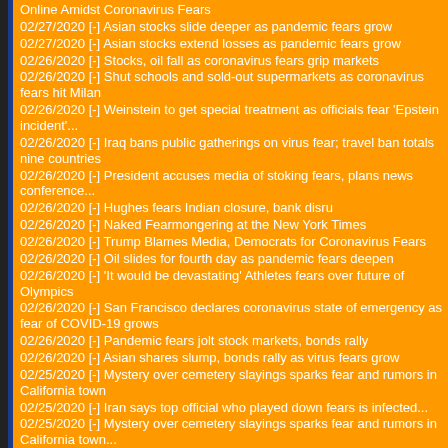Online Amidst Coronavirus Fears
02/27/2020 [-] Asian stocks slide deeper as pandemic fears grow
02/27/2020 [-] Asian stocks extend losses as pandemic fears grow
02/26/2020 [-] Stocks, oil fall as coronavirus fears grip markets
02/26/2020 [-] Shut schools and sold-out supermarkets as coronavirus fears hit Milan
02/26/2020 [-] Weinstein to get special treatment as officials fear 'Epstein incident'...
02/26/2020 [-] Iraq bans public gatherings on virus fear; travel ban totals nine countries
02/26/2020 [-] President accuses media of stoking fears, plans news conference...
02/26/2020 [-] Hughes fears Indian closure, bank disru
02/26/2020 [-] Naked Fearmongering at the New York Times
02/26/2020 [-] Trump Blames Media, Democrats for Coronavirus Fears
02/26/2020 [-] Oil slides for fourth day as pandemic fears deepen
02/26/2020 [-] 'It would be devastating' Athletes fears over future of Olympics
02/26/2020 [-] San Francisco declares coronavirus state of emergency as fear of COVID-19 grows
02/26/2020 [-] Pandemic fears jolt stock markets, bonds rally
02/26/2020 [-] Asian shares slump, bonds rally as virus fears grow
02/25/2020 [-] Mystery over cemetery slayings sparks fear and rumors in California town
02/25/2020 [-] Iran says top official who played down fears is infected...
02/25/2020 [-] Mystery over cemetery slayings sparks fear and rumors in California town...
02/25/2020 [-] Global stocks sink further as virus fears weigh